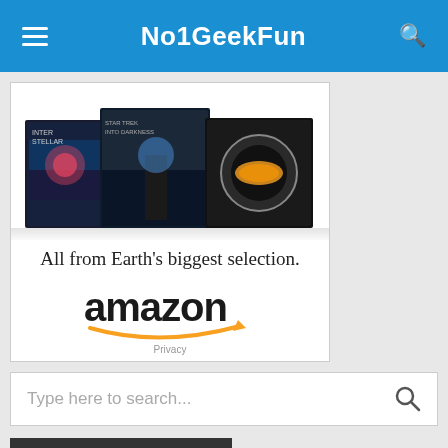No1GeekFun
[Figure (screenshot): Amazon advertisement showing movie thumbnails (Interstellar, Star Trek Into Darkness, Daft Punk) with text 'All from Earth's biggest selection.' and the Amazon logo with smile arrow, and 'Privacy' link at bottom]
Type here to search...
Recent Posts